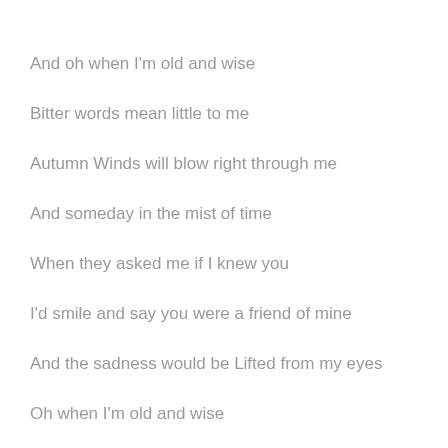And oh when I'm old and wise
Bitter words mean little to me
Autumn Winds will blow right through me
And someday in the mist of time
When they asked me if I knew you
I'd smile and say you were a friend of mine
And the sadness would be Lifted from my eyes
Oh when I'm old and wise
As far as my Eyes can see